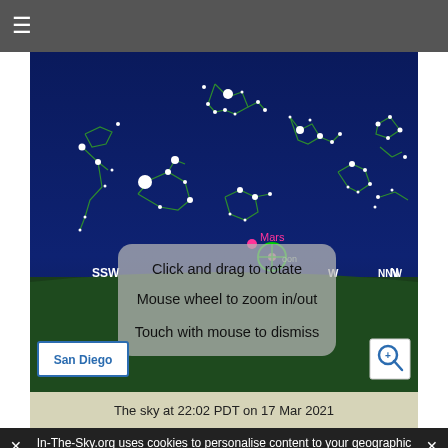≡ (hamburger menu)
[Figure (screenshot): Interactive star map showing night sky with constellation lines in green on dark blue background, with ground shown as dark green. Stars shown as white dots of varying sizes. Mars labeled in magenta/pink. Compass directions SSW, W, NNW, N shown. A tooltip overlay reads: 'Click and drag to rotate / Mouse wheel to zoom in/out / Touch with mouse to dismiss'. San Diego location button at bottom left, search/zoom icon at bottom right.]
The sky at 22:02 PDT on 17 Mar 2021
✕  In-The-Sky.org uses cookies to personalise content to your geographic location. By continuing to use this site you consent to our privacy policy  ✕